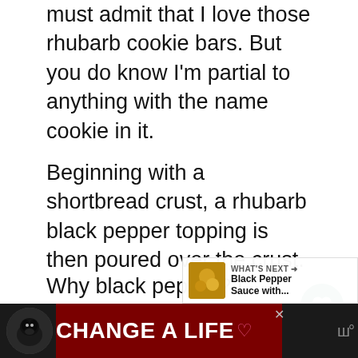must admit that I love those rhubarb cookie bars. But you do know I'm partial to anything with the name cookie in it.
Beginning with a shortbread crust, a rhubarb black pepper topping is then poured over the crust.
Why black pepper? I found that black pepper and strawberries have a real affinity to each other. As does rh and vanilla.
[Figure (screenshot): WHAT'S NEXT arrow label with Black Pepper Sauce with... thumbnail]
[Figure (screenshot): Ad banner: black Labrador dog, CHANGE A LIFE text on dark red background]